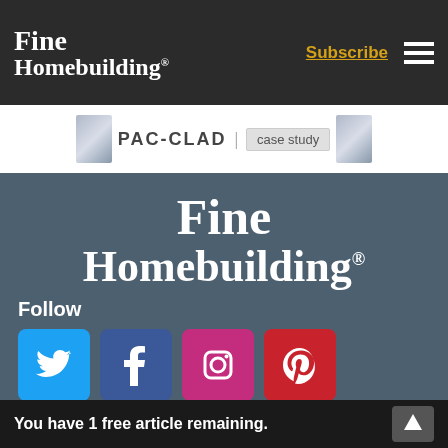[Figure (logo): Fine Homebuilding logo in white on dark nav bar, top left]
Subscribe
[Figure (illustration): PAC-CLAD | case study advertisement banner]
[Figure (logo): Fine Homebuilding large white logo centered on blue-grey footer background]
Follow
[Figure (illustration): Social media icons: Twitter (blue), Facebook (dark blue), Instagram (pink/magenta), Pinterest (red)]
Newsletter
Get home building tips, offers, and expert advice in your
You have 1 free article remaining.